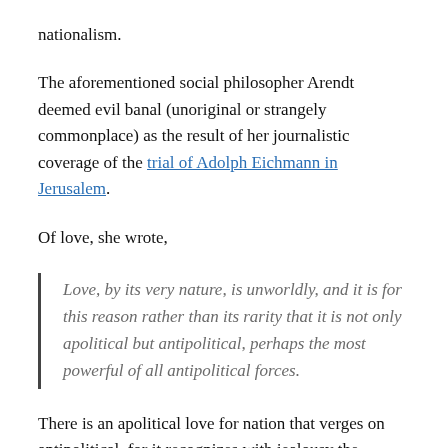nationalism.
The aforementioned social philosopher Arendt deemed evil banal (unoriginal or strangely commonplace) as the result of her journalistic coverage of the trial of Adolph Eichmann in Jerusalem.
Of love, she wrote,
Love, by its very nature, is unworldly, and it is for this reason rather than its rarity that it is not only apolitical but antipolitical, perhaps the most powerful of all antipolitical forces.
There is an apolitical love for nation that verges on antipolitical, for it recognizes with jealousy the